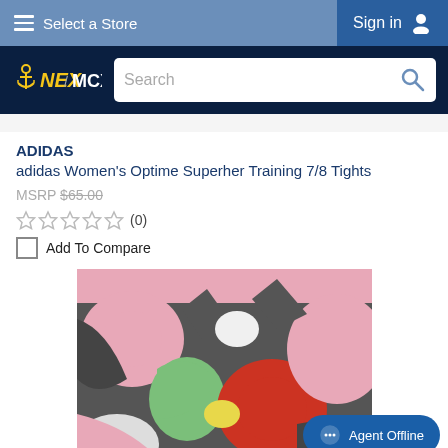Select a Store | Sign in
[Figure (logo): NEX / MCX logo on dark navy background with search bar]
ADIDAS
adidas Women's Optime Superher Training 7/8 Tights
MSRP $65.00
★★★★★ (0)
Add To Compare
[Figure (photo): Adidas women's tights with colorful floral/heart pattern in pink, red, green on dark background]